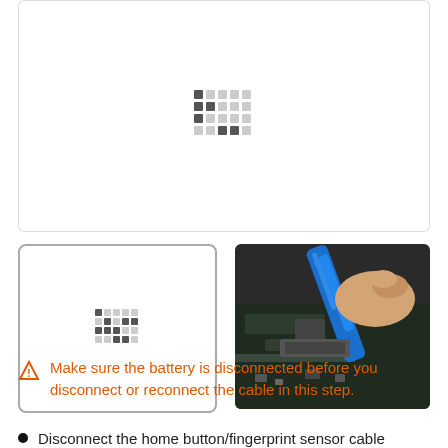[Figure (photo): Loading placeholder with pixel dot pattern in main image area with rounded rectangle border]
[Figure (photo): Thumbnail 1: loading placeholder with pixel dot pattern]
[Figure (photo): Thumbnail 2: Photo of a blue spudger tool being used to disconnect a cable from an iPhone logic board]
Make sure the battery is disconnected before you disconnect or reconnect the cable in this step.
Disconnect the home button/fingerprint sensor cable